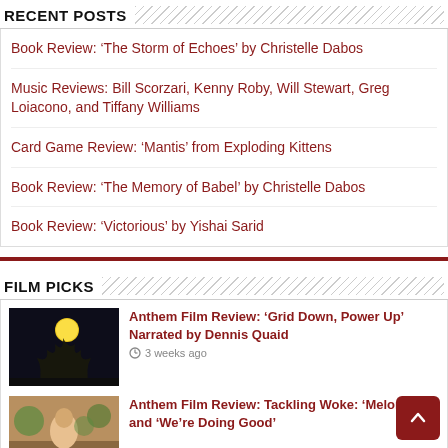RECENT POSTS
Book Review: ‘The Storm of Echoes’ by Christelle Dabos
Music Reviews: Bill Scorzari, Kenny Roby, Will Stewart, Greg Loiacono, and Tiffany Williams
Card Game Review: ‘Mantis’ from Exploding Kittens
Book Review: ‘The Memory of Babel’ by Christelle Dabos
Book Review: ‘Victorious’ by Yishai Sarid
FILM PICKS
[Figure (photo): Dark night sky with a bright moon and tree silhouette]
Anthem Film Review: ‘Grid Down, Power Up’ Narrated by Dennis Quaid
3 weeks ago
[Figure (photo): Scene from Tackling Woke film]
Anthem Film Review: Tackling Woke: ‘Melons’ and ‘We’re Doing Good’